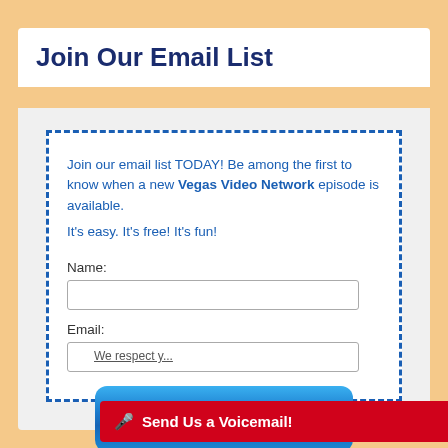Join Our Email List
Join our email list TODAY! Be among the first to know when a new Vegas Video Network episode is available.
It's easy. It's free! It's fun!
Name:
Email:
[Figure (other): Blue SIGN UP NOW! button]
We respect y...
🎤 Send Us a Voicemail!